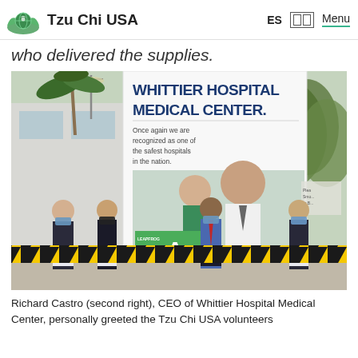Tzu Chi USA — ES | Menu
who delivered the supplies.
[Figure (photo): Four people wearing face masks standing in front of a Whittier Hospital Medical Center banner sign. The sign reads 'WHITTIER HOSPITAL MEDICAL CENTER. Once again we are recognized as one of the safest hospitals in the nation.' A Leapfrog Hospital Safety Grade A badge is visible. Yellow and black caution tape is strung in front of the group. The person second from right is wearing a blue shirt with a red tie. The others are wearing dark and white clothing. Trees and a building are visible in the background.]
Richard Castro (second right), CEO of Whittier Hospital Medical Center, personally greeted the Tzu Chi USA volunteers who delivered the supplies.